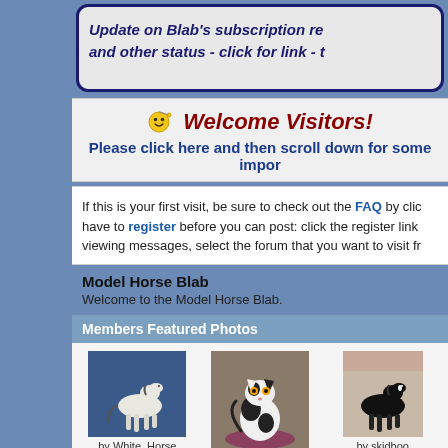Update on Blab's subscription renewal and other status - click for link - t
Welcome Visitors!
Please click here and then scroll down for some impor
If this is your first visit, be sure to check out the FAQ by clic have to register before you can post: click the register link viewing messages, select the forum that you want to visit fr
Model Horse Blab
Welcome to the Model Horse Blab.
Members Featured Photos
[Figure (photo): White horse model figure on blue background, by White_Horse. Other Sport Solid. 12 photos, 5 comments.]
[Figure (photo): Black and white cat figurine sitting on plaid mat, by sharoni. Cats. 7 photos, 5 comments.]
[Figure (photo): Black and white horse model, by skidboo. Pre-1980: Smoke... 20 photos, 5 comments.]